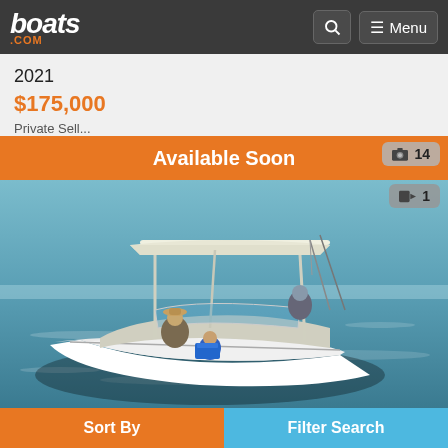boats.com
2021
$175,000
Private Sell...
[Figure (photo): White motorboat with T-top on the water with people on board, listing page for a 2021 boat priced at $175,000. Banner reads 'Available Soon' with photo count 14 and video count 1.]
Sort By
Filter Search